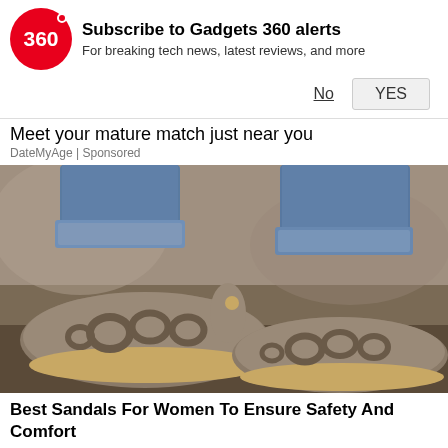[Figure (logo): Gadgets 360 red circle logo with '360' text and notification dot]
Subscribe to Gadgets 360 alerts
For breaking tech news, latest reviews, and more
No   YES
Meet your mature match just near you
DateMyAge | Sponsored
[Figure (photo): Photo of women's grey laser-cut flat sandals with floral cutout pattern, worn with rolled-up blue jeans, displayed against a stone/rock background]
Best Sandals For Women To Ensure Safety And Comfort